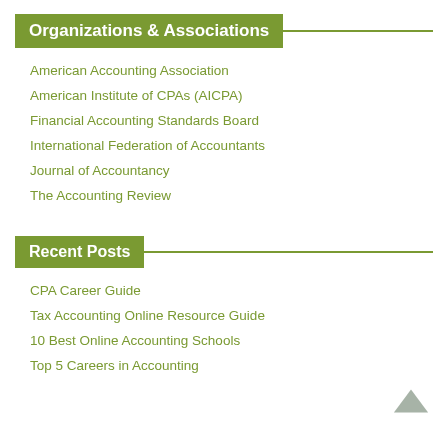Organizations & Associations
American Accounting Association
American Institute of CPAs (AICPA)
Financial Accounting Standards Board
International Federation of Accountants
Journal of Accountancy
The Accounting Review
Recent Posts
CPA Career Guide
Tax Accounting Online Resource Guide
10 Best Online Accounting Schools
Top 5 Careers in Accounting